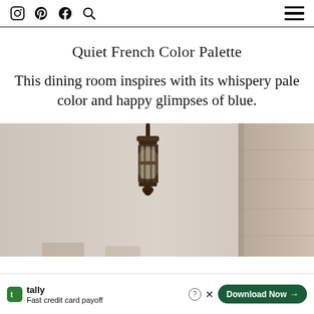Navigation bar with Instagram, Pinterest, Facebook, Search icons and hamburger menu
Quiet French Color Palette
This dining room inspires with its whispery pale color and happy glimpses of blue.
[Figure (photo): A French dining room scene showing a dark bronze lantern-style pendant light hanging from the ceiling and a stone or stucco column/pillar on the right side. Walls are pale off-white/beige. Soft natural light.]
[Figure (other): Advertisement banner: Tally app - Fast credit card payoff, with a Download Now button]